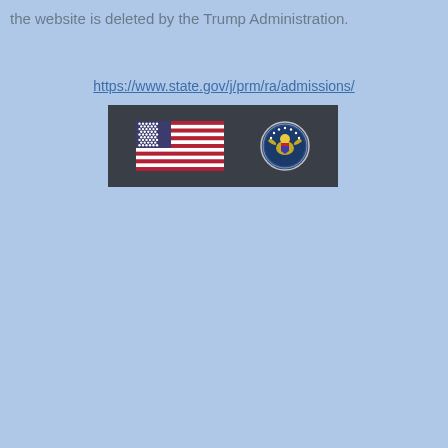the website is deleted by the Trump Administration.
https://www.state.gov/j/prm/ra/admissions/
[Figure (screenshot): Dark banner with US flag and US State Department seal logos]